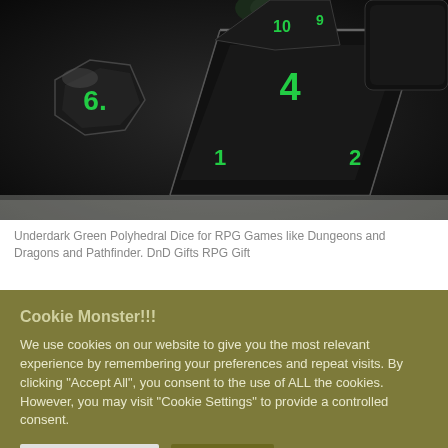[Figure (photo): Close-up photo of black polyhedral dice with green numbers, including d4, d6, d8, d20 and other RPG dice shapes, arranged on a reflective surface.]
Underdark Green Polyhedral Dice for RPG Games like Dungeons and Dragons and Pathfinder. DnD Gifts RPG Gift
Cookie Monster!!!
We use cookies on our website to give you the most relevant experience by remembering your preferences and repeat visits. By clicking "Accept All", you consent to the use of ALL the cookies. However, you may visit "Cookie Settings" to provide a controlled consent.